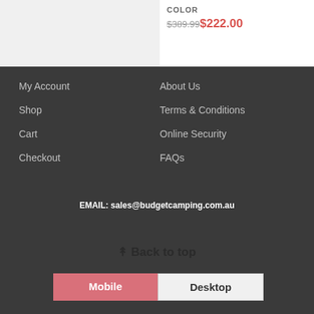COLOR
$389.99 $222.00
My Account
Shop
Cart
Checkout
About Us
Terms & Conditions
Online Security
FAQs
EMAIL: sales@budgetcamping.com.au
⇈ Back to top
Mobile
Desktop